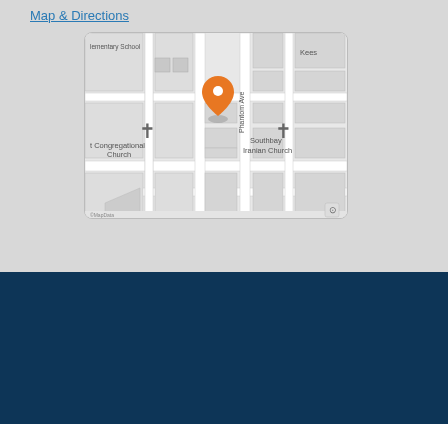Map & Directions
[Figure (map): Street map showing location pin near Southbay Iranian Church and Congregational Church, with streets including Phantom Ave and Kees. Orange location marker in center.]